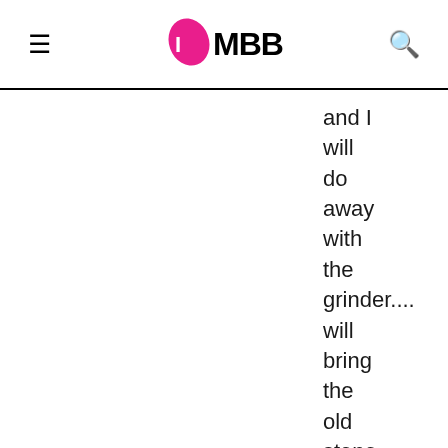IMBB
and I will do away with the grinder....will bring the old stone grinder for making batter for